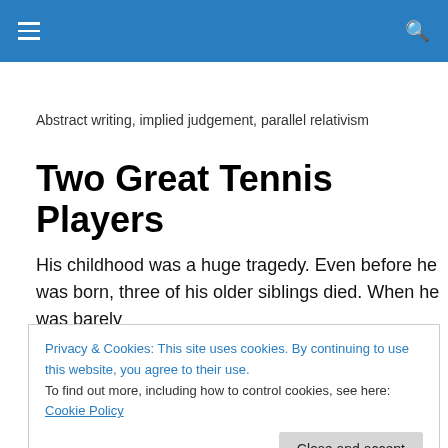Abstract writing, implied judgement, parallel relativism
Two Great Tennis Players
His childhood was a huge tragedy. Even before he was born, three of his older siblings died. When he was barely
Privacy & Cookies: This site uses cookies. By continuing to use this website, you agree to their use.
To find out more, including how to control cookies, see here: Cookie Policy
considered it to be a form of therapy for his grief.